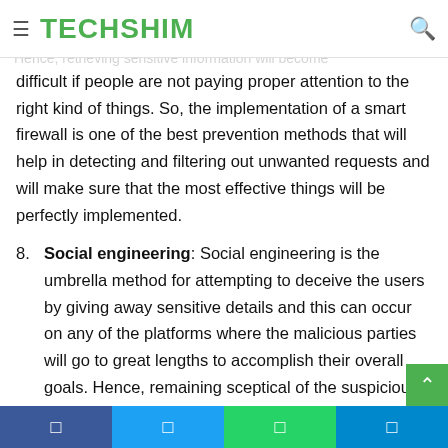TECHSHIM
issues in the system and will be implemented to access … not meant to be easily available. Hence, retrieving sensitive information will become difficult if people are not paying proper attention to the right kind of things. So, the implementation of a smart firewall is one of the best prevention methods that will help in detecting and filtering out unwanted requests and will make sure that the most effective things will be perfectly implemented.
8. Social engineering: Social engineering is the umbrella method for attempting to deceive the users by giving away sensitive details and this can occur on any of the platforms where the malicious parties will go to great lengths to accomplish their overall goals. Hence, remaining sceptical of the suspicious messages, emails and attempts to collect user information is the best
Facebook | Twitter | WhatsApp | Telegram